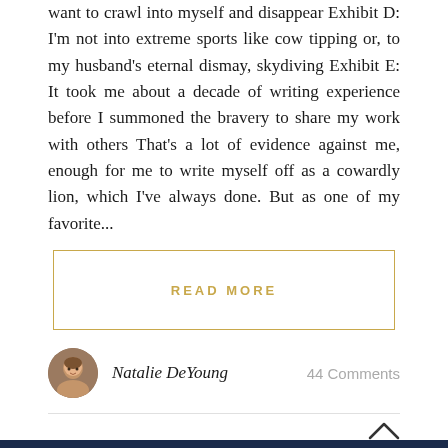want to crawl into myself and disappear Exhibit D: I'm not into extreme sports like cow tipping or, to my husband's eternal dismay, skydiving Exhibit E: It took me about a decade of writing experience before I summoned the bravery to share my work with others That's a lot of evidence against me, enough for me to write myself off as a cowardly lion, which I've always done. But as one of my favorite...
READ MORE
Natalie DeYoung
44 Comments
[Figure (photo): Dark blue-toned image showing what appears to be a room with a monitor or screen and a small dark box with two circular openings resembling eyes on the left side.]